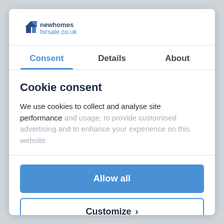[Figure (logo): newhomesforsale.co.uk logo with house icon]
Consent | Details | About
Cookie consent
We use cookies to collect and analyse site performance and usage, to provide customised advertising and to enhance your experience on this website
Allow all
Customize ›
Powered by Cookiebot by Usercentrics